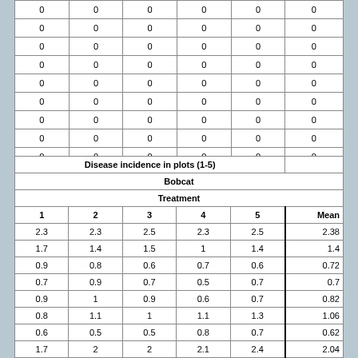|  |  |  |  |  |  |
| --- | --- | --- | --- | --- | --- |
| 0 | 0 | 0 | 0 | 0 | 0 |
| 0 | 0 | 0 | 0 | 0 | 0 |
| 0 | 0 | 0 | 0 | 0 | 0 |
| 0 | 0 | 0 | 0 | 0 | 0 |
| 0 | 0 | 0 | 0 | 0 | 0 |
| 0 | 0 | 0 | 0 | 0 | 0 |
| 0 | 0 | 0 | 0 | 0 | 0 |
| 0 | 0 | 0 | 0 | 0 | 0 |
| 0 | 0 | 0 | 0 | 0 | 0 |
|  |  |  |  |  |  |
|  |  |  |  |  | 0 |
| Disease incidence in plots (1-5) |  |  |  |  |  |
| --- | --- | --- | --- | --- | --- |
| Bobcat |  |  |  |  |  |
| Treatment |  |  |  |  |  |
| 1 | 2 | 3 | 4 | 5 | Mean |
| 2.3 | 2.3 | 2.5 | 2.3 | 2.5 | 2.38 |
| 1.7 | 1.4 | 1.5 | 1 | 1.4 | 1.4 |
| 0.9 | 0.8 | 0.6 | 0.7 | 0.6 | 0.72 |
| 0.7 | 0.9 | 0.7 | 0.5 | 0.7 | 0.7 |
| 0.9 | 1 | 0.9 | 0.6 | 0.7 | 0.82 |
| 0.8 | 1.1 | 1 | 1.1 | 1.3 | 1.06 |
| 0.6 | 0.5 | 0.5 | 0.8 | 0.7 | 0.62 |
| 1.7 | 2 | 2 | 2.1 | 2.4 | 2.04 |
| 1.6 | 2.2 | 1.9 | 1.9 | 2.4 | 2 |
| 1.8 | 2 | 1.9 | 2 | 2.2 | 1.98 |
| 2 | 2.2 | 1.8 | 1.9 | 1.6 | 1.9 |
| 1.6 | 2 | 2.1 | 2 | 2.4 | 2.02 |
| 1.7 | 2.1 | 1.7 | 2 | 2 | 1.9 |